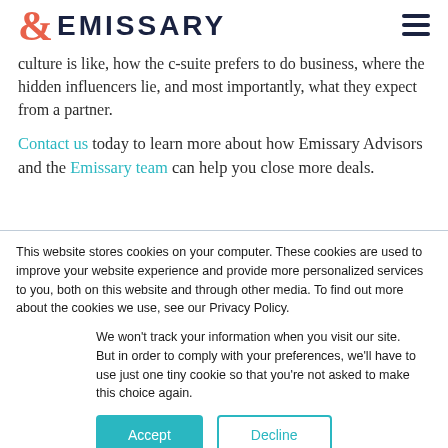& EMISSARY
culture is like, how the c-suite prefers to do business, where the hidden influencers lie, and most importantly, what they expect from a partner.
Contact us today to learn more about how Emissary Advisors and the Emissary team can help you close more deals.
This website stores cookies on your computer. These cookies are used to improve your website experience and provide more personalized services to you, both on this website and through other media. To find out more about the cookies we use, see our Privacy Policy.
We won't track your information when you visit our site. But in order to comply with your preferences, we'll have to use just one tiny cookie so that you're not asked to make this choice again.